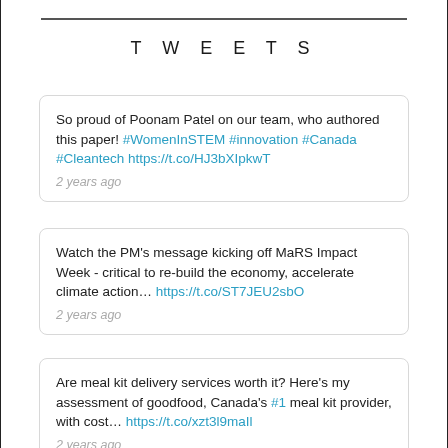TWEETS
So proud of Poonam Patel on our team, who authored this paper! #WomenInSTEM #innovation #Canada #Cleantech https://t.co/HJ3bXIpkwT
2 years ago
Watch the PM's message kicking off MaRS Impact Week - critical to re-build the economy, accelerate climate action… https://t.co/ST7JEU2sbO
2 years ago
Are meal kit delivery services worth it? Here's my assessment of goodfood, Canada's #1 meal kit provider, with cost… https://t.co/xzt3l9maIl
2 years ago